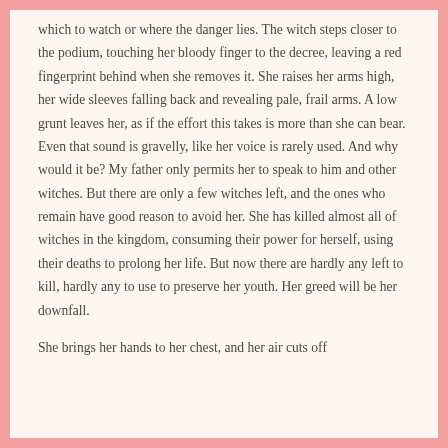which to watch or where the danger lies. The witch steps closer to the podium, touching her bloody finger to the decree, leaving a red fingerprint behind when she removes it. She raises her arms high, her wide sleeves falling back and revealing pale, frail arms. A low grunt leaves her, as if the effort this takes is more than she can bear. Even that sound is gravelly, like her voice is rarely used. And why would it be? My father only permits her to speak to him and other witches. But there are only a few witches left, and the ones who remain have good reason to avoid her. She has killed almost all of witches in the kingdom, consuming their power for herself, using their deaths to prolong her life. But now there are hardly any left to kill, hardly any to use to preserve her youth. Her greed will be her downfall.
She brings her hands to her chest, and her air cuts off